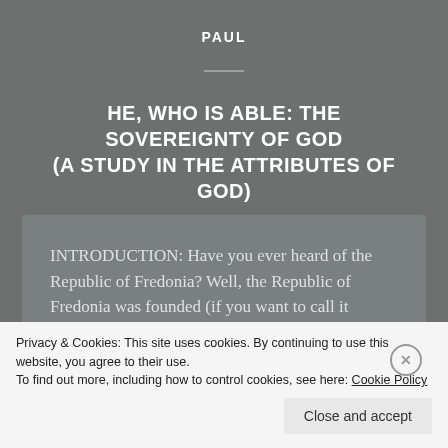PAUL
HE, WHO IS ABLE: THE SOVEREIGNTY OF GOD (A STUDY IN THE ATTRIBUTES OF GOD)
NOVEMBER 21, 2017 / LEAVE A COMMENT
INTRODUCTION: Have you ever heard of the Republic of Fredonia? Well, the Republic of Fredonia was founded (if you want to call it
Privacy & Cookies: This site uses cookies. By continuing to use this website, you agree to their use.
To find out more, including how to control cookies, see here: Cookie Policy
Close and accept